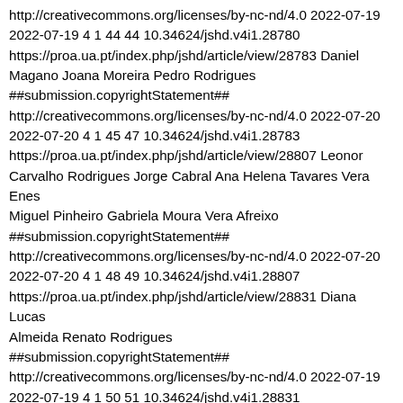http://creativecommons.org/licenses/by-nc-nd/4.0 2022-07-19 2022-07-19 4 1 44 44 10.34624/jshd.v4i1.28780 https://proa.ua.pt/index.php/jshd/article/view/28783 Daniel Magano Joana Moreira Pedro Rodrigues ##submission.copyrightStatement## http://creativecommons.org/licenses/by-nc-nd/4.0 2022-07-20 2022-07-20 4 1 45 47 10.34624/jshd.v4i1.28783 https://proa.ua.pt/index.php/jshd/article/view/28807 Leonor Carvalho Rodrigues Jorge Cabral Ana Helena Tavares Vera Enes Miguel Pinheiro Gabriela Moura Vera Afreixo ##submission.copyrightStatement## http://creativecommons.org/licenses/by-nc-nd/4.0 2022-07-20 2022-07-20 4 1 48 49 10.34624/jshd.v4i1.28807 https://proa.ua.pt/index.php/jshd/article/view/28831 Diana Lucas Almeida Renato Rodrigues ##submission.copyrightStatement## http://creativecommons.org/licenses/by-nc-nd/4.0 2022-07-19 2022-07-19 4 1 50 51 10.34624/jshd.v4i1.28831 https://proa.ua.pt/index.php/jshd/article/view/28843 Vanusa Rocha Vera Afreixo Tiago Gregório Andrea Cabral ##submission.copyrightStatement## http://creativecommons.org/licenses/by-nc-nd/4.0 2022-07-20 2022-07-20 4 1 52 53 10.34624/jshd.v4i1.28843 https://proa.ua.pt/index.php/jshd/article/view/28849 Catarina S. Cardoso Cristiana Silva Magda Monteiro José P. Antunes Vera Afreixo ##submission.copyrightStatement## http://creativecommons.org/licenses/by-nc-nd/4.0 2022-07-20